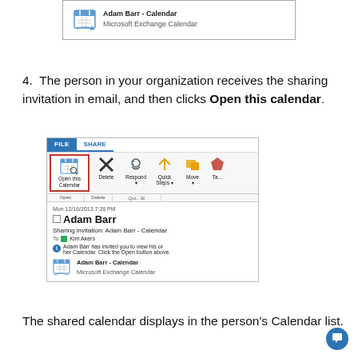[Figure (screenshot): Top partial screenshot showing an Outlook email with Adam Barr - Calendar / Microsoft Exchange Calendar entry and a calendar icon with arrows]
4. The person in your organization receives the sharing invitation in email, and then clicks Open this calendar.
[Figure (screenshot): Screenshot of Outlook ribbon with FILE and SHARE tabs. Open this Calendar button is highlighted with a pink/red border. Below shows an email: Mon 12/16/2013 7:28 PM, from Adam Barr, Subject: Sharing invitation: Adam Barr - Calendar, To: Kim Akers. Body: Adam Barr has invited you to view his or her Calendar. Click the Open button above. Attachment: Adam Barr - Calendar / Microsoft Exchange Calendar with calendar icon.]
The shared calendar displays in the person’s Calendar list.